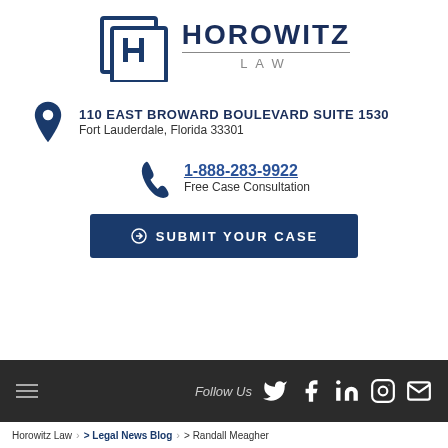[Figure (logo): Horowitz Law logo with H icon and text]
110 EAST BROWARD BOULEVARD SUITE 1530
Fort Lauderdale, Florida 33301
1-888-283-9922
Free Case Consultation
SUBMIT YOUR CASE
Follow Us  [social icons: Twitter, Facebook, LinkedIn, Instagram, Email]
Horowitz Law > Legal News Blog > Randall Meagher  Privacy · Terms